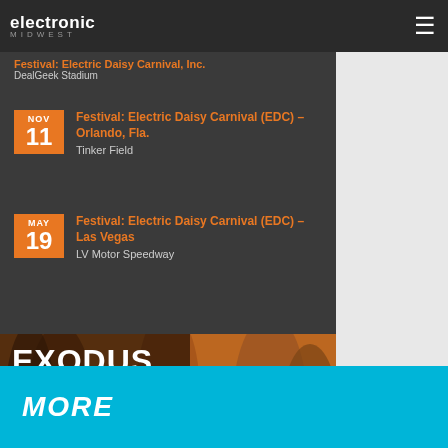Electronic Midwest
NOV 11 – Festival: Electric Daisy Carnival (EDC) – Orlando, Fla. – DealGeek Stadium
MAY 19 – Festival: Electric Daisy Carnival (EDC) – Las Vegas – LV Motor Speedway
[Figure (photo): Exodus Festival Las Vegas advertisement banner: crowd of people partying, with text '5 PREMIER NIGHTCLUBS, 5 EPIC POOL PARTIES, 1 ALL ACCESS PARTY WRISTBAND']
MORE